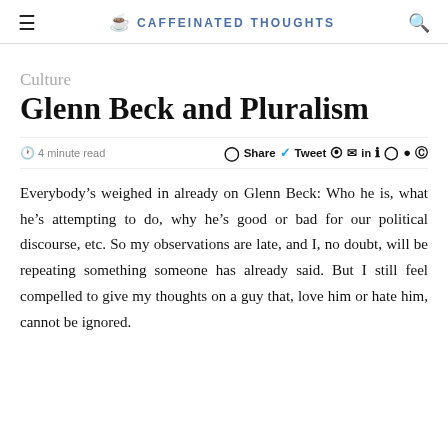≡  ☕ CAFFEINATED THOUGHTS  🔍
Culture
Glenn Beck and Pluralism
🕐 4 minute read   Share  Tweet  in  Su  ⊕  ●  ⊕
Everybody's weighed in already on Glenn Beck: Who he is, what he's attempting to do, why he's good or bad for our political discourse, etc. So my observations are late, and I, no doubt, will be repeating something someone has already said. But I still feel compelled to give my thoughts on a guy that, love him or hate him, cannot be ignored.